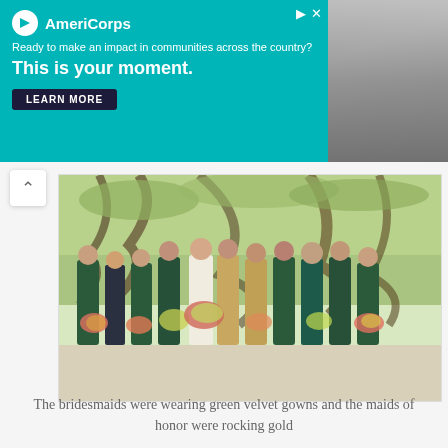[Figure (other): AmeriCorps advertisement banner with teal background. Logo with white circle icon and 'AmeriCorps' text. Tagline: 'Ready to make an impact in communities across the country?' Headline: 'This is your moment.' with a 'LEARN MORE' button. Photo of a student on the right side.]
[Figure (photo): Wedding party photo outdoors under large live oak trees. Bridesmaids wearing dark green velvet gowns, maids of honor in gold/champagne dresses, bride in white gown holding a large floral bouquet, groomsmen in dark suits and teal jacket. Group posed together holding colorful floral bouquets.]
The bridesmaids were wearing green velvet gowns and the maids of honor were rocking gold